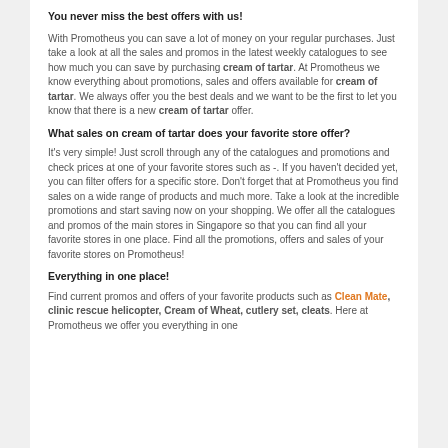You never miss the best offers with us!
With Promotheus you can save a lot of money on your regular purchases. Just take a look at all the sales and promos in the latest weekly catalogues to see how much you can save by purchasing cream of tartar. At Promotheus we know everything about promotions, sales and offers available for cream of tartar. We always offer you the best deals and we want to be the first to let you know that there is a new cream of tartar offer.
What sales on cream of tartar does your favorite store offer?
It's very simple! Just scroll through any of the catalogues and promotions and check prices at one of your favorite stores such as -. If you haven't decided yet, you can filter offers for a specific store. Don't forget that at Promotheus you find sales on a wide range of products and much more. Take a look at the incredible promotions and start saving now on your shopping. We offer all the catalogues and promos of the main stores in Singapore so that you can find all your favorite stores in one place. Find all the promotions, offers and sales of your favorite stores on Promotheus!
Everything in one place!
Find current promos and offers of your favorite products such as Clean Mate, clinic rescue helicopter, Cream of Wheat, cutlery set, cleats. Here at Promotheus we offer you everything in one